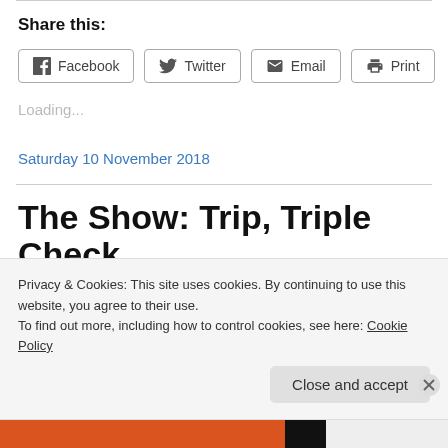Share this:
[Figure (screenshot): Row of social share buttons: Facebook, Twitter, Email, Print]
Loading...
Saturday 10 November 2018
The Show: Trip, Triple Check
Privacy & Cookies: This site uses cookies. By continuing to use this website, you agree to their use.
To find out more, including how to control cookies, see here: Cookie Policy
Close and accept